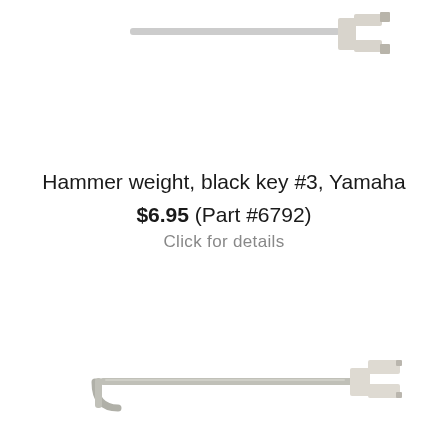[Figure (photo): Partial view of a hammer weight part for Yamaha piano — metallic rod with a white plastic forked clip at the right end, cropped at top of page.]
Hammer weight, black key #3, Yamaha
$6.95 (Part #6792)
Click for details
[Figure (photo): Full hammer weight for Yamaha piano — a long metallic rod with a J-hook at the left end and a white plastic forked clip at the right end.]